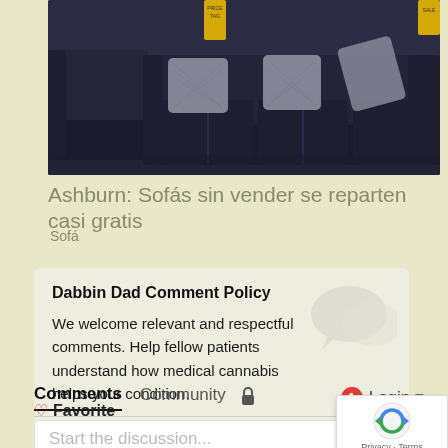[Figure (photo): Photo of dark navy/black sofas with patterned throw pillows on display in a furniture store, with yellow price tags visible]
Ashburn: Sofás sin vender se reparten casi gratis
Sofá
Dabbin Dad Comment Policy
We welcome relevant and respectful comments. Help fellow patients understand how medical cannabis helps your condition.
Comments  Community  🔒  1  Login ▾
♡ Favorite   Sort by
Start the discussion...